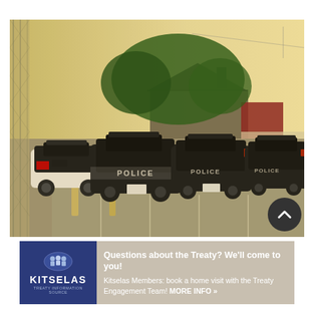[Figure (photo): Photograph of several black-and-white police cruisers labeled POLICE parked in a parking lot, viewed through a chain-link fence, with trees and a house visible in the background during golden hour lighting.]
[Figure (logo): Kitselas First Nation banner advertisement with dark blue logo panel on left showing Kitselas crest and name, and tan/grey panel on right with text: 'Questions about the Treaty? We'll come to you! Kitselas Members: book a home visit with the Treaty Engagement Team! MORE INFO »']